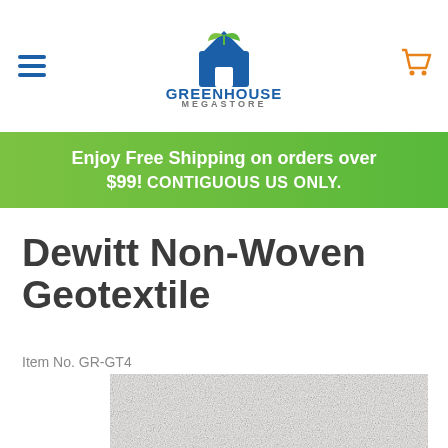Greenhouse Megastore — navigation header with hamburger menu and cart icon
Enjoy Free Shipping on orders over $99! CONTIGUOUS US ONLY.
Dewitt Non-Woven Geotextile
Item No. GR-GT4
[Figure (photo): Close-up photo of white non-woven geotextile fabric texture]